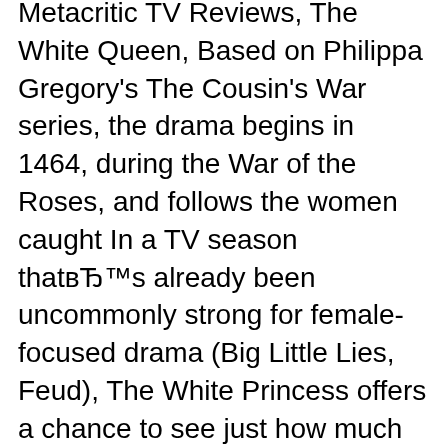Metacritic TV Reviews, The White Queen, Based on Philippa Gregory's The Cousin's War series, the drama begins in 1464, during the War of the Roses, and follows the women caught In a TV season thatвЂ™s already been uncommonly strong for female-focused drama (Big Little Lies, Feud), The White Princess offers a chance to see just how much women pulled 15th-century monarchy strings.All of GregoryвЂ™s works are told from womenвЂ™s point of view, which has made her a huge hit in the romance novel set.
In a TV season thatвЂ™s already been uncommonly strong for female-focused drama (Big Little Lies, Feud), The White